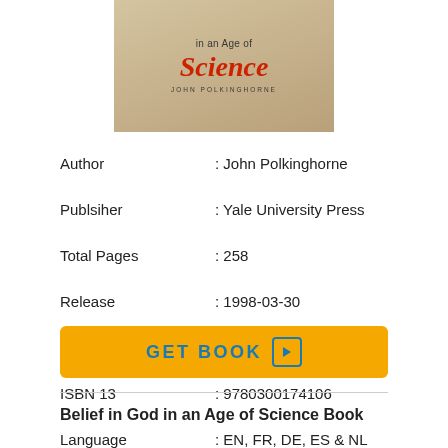[Figure (photo): Book cover image showing 'in an Age of Science' text in dark color, 'Science' in large red italic font, and 'JOHN POLKINGHORNE' author name below, on a tan/beige background]
| Author | : John Polkinghorne |
| Publsiher | : Yale University Press |
| Total Pages | : 258 |
| Release | : 1998-03-30 |
| ISBN 10 | : 0300174101 |
| ISBN 13 | : 9780300174106 |
| Language | : EN, FR, DE, ES & NL |
GET BOOK
Belief in God in an Age of Science Book